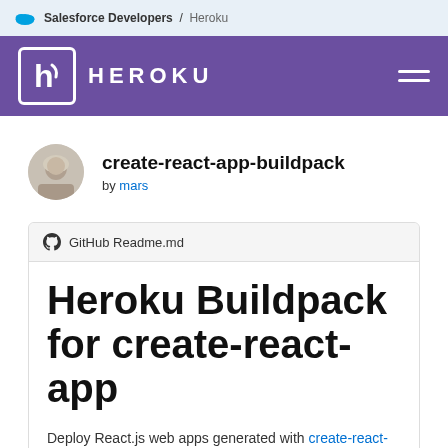Salesforce Developers / Heroku
[Figure (logo): Heroku navigation bar with purple background, Heroku logo (white H in box) and HEROKU wordmark, hamburger menu icon on right]
create-react-app-buildpack
by mars
GitHub Readme.md
Heroku Buildpack for create-react-app
Deploy React.js web apps generated with create-react-app to Heroku with the built-in tooling.